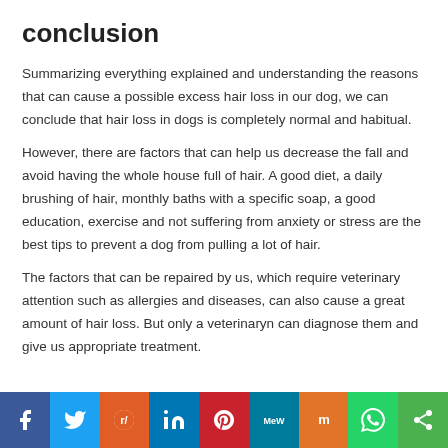conclusion
Summarizing everything explained and understanding the reasons that can cause a possible excess hair loss in our dog, we can conclude that hair loss in dogs is completely normal and habitual.
However, there are factors that can help us decrease the fall and avoid having the whole house full of hair. A good diet, a daily brushing of hair, monthly baths with a specific soap, a good education, exercise and not suffering from anxiety or stress are the best tips to prevent a dog from pulling a lot of hair.
The factors that can be repaired by us, which require veterinary attention such as allergies and diseases, can also cause a great amount of hair loss. But only a veterinaryn can diagnose them and give us appropriate treatment.
Social share bar: Facebook, Twitter, Reddit, LinkedIn, Pinterest, MeWe, Mix, WhatsApp, Share